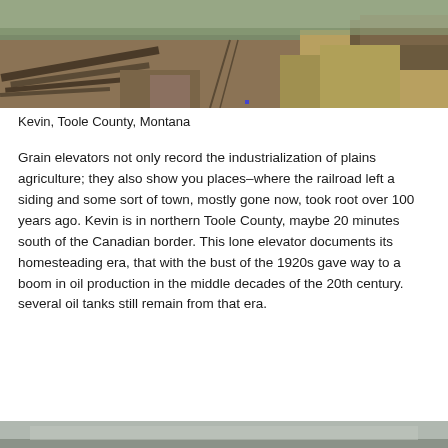[Figure (photo): Aerial/ground-level photograph of an abandoned railroad siding area with overgrown dry grass, scattered timber/rails, and eroded land formations in Kevin, Toole County, Montana]
Kevin, Toole County, Montana
Grain elevators not only record the industrialization of plains agriculture; they also show you places–where the railroad left a siding and some sort of town, mostly gone now, took root over 100 years ago. Kevin is in northern Toole County, maybe 20 minutes south of the Canadian border. This lone elevator documents its homesteading era, that with the bust of the 1920s gave way to a boom in oil production in the middle decades of the 20th century. several oil tanks still remain from that era.
[Figure (photo): Partial view of a second photograph visible at the bottom of the page, showing a light gray/blue structure]